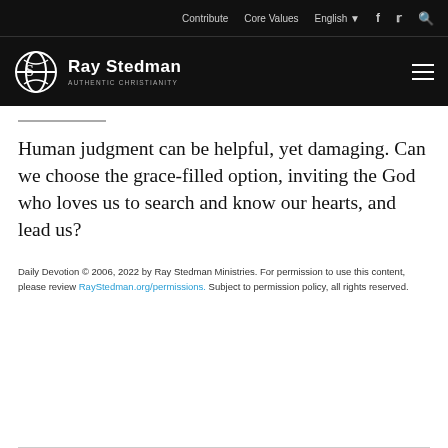Contribute  Core Values  English  [social icons]
[Figure (logo): Ray Stedman Authentic Christianity logo with globe icon]
Human judgment can be helpful, yet damaging. Can we choose the grace-filled option, inviting the God who loves us to search and know our hearts, and lead us?
Daily Devotion © 2006, 2022 by Ray Stedman Ministries. For permission to use this content, please review RayStedman.org/permissions. Subject to permission policy, all rights reserved.